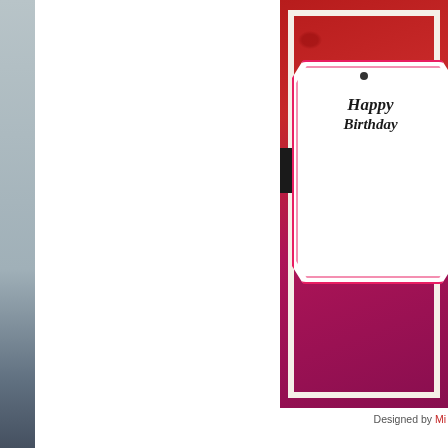[Figure (photo): Handmade Happy Birthday card with red floral patterned background, black band across middle, and white decorative tag/label shape with 'Happy Birthday' written in cursive script. Card has pink border detail on the tag.]
Designed by Mi
Please help us welcome some new members that have been invited to jo
[Figure (photo): Handmade scrapbook card with navy blue background featuring diagonal striped elements, vintage-style embellishments, 'Bon' text visible in green cursive, partial circular badge/seal, and various layered paper decorations.]